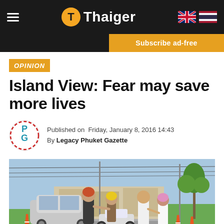Thaiger
Subscribe ad-free
OPINION
Island View: Fear may save more lives
Published on Friday, January 8, 2016 14:43
By Legacy Phuket Gazette
[Figure (photo): Police officer at a road checkpoint with motorcyclists wearing helmets, traffic cones visible on the road, outdoors in Thailand]